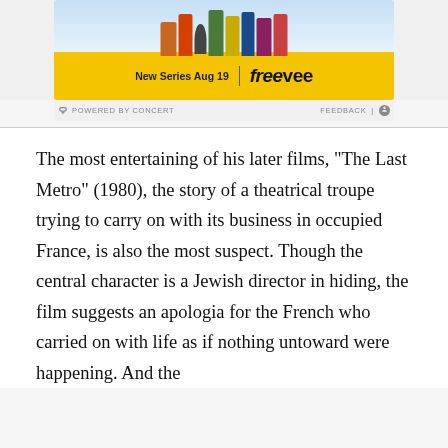[Figure (screenshot): Advertisement for Amazon Freevee showing 'New Series Aug 19' with the Freevee logo on a yellow background, with cartoon figures at top]
POWERED BY CONCERT   FEEDBACK | ⚙
The most entertaining of his later films, "The Last Metro" (1980), the story of a theatrical troupe trying to carry on with its business in occupied France, is also the most suspect. Though the central character is a Jewish director in hiding, the film suggests an apologia for the French who carried on with life as if nothing untoward were happening. And the